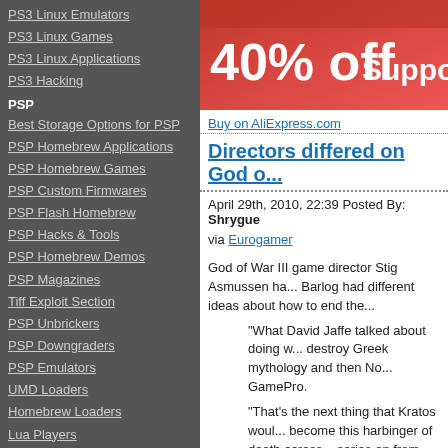PS3 Linux Emulators
PS3 Linux Games
PS3 Linux Applications
PS3 Hacking
PSP
Best Storage Options for PSP
PSP Homebrew Applications
PSP Homebrew Games
PSP Custom Firmwares
PSP Flash Homebrew
PSP Hacks & Tools
PSP Homebrew Demos
PSP Magazines
Tiff Exploit Section
PSP Unbrickers
PSP Downgraders
PSP Emulators
UMD Loaders
Homebrew Loaders
Lua Players
Lua Games
Lua Applications
Lua Demos
Commercial Game Demos
PSP Coding Competitions
Emulators for PSP
[Figure (screenshot): 40% off advertisement banner - red background with white text]
Buy on AliExpress.com
Directors differed on God o...
April 29th, 2010, 22:39 Posted By: Shrygue
via Eurogamer
God of War III game director Stig Asmussen ha... Barlog had different ideas about how to end the...
"What David Jaffe talked about doing w... destroy Greek mythology and then No... GamePro.
"That's the next thing that Kratos woul... become this harbinger of death across... series on from there." Apparently Barlog's idea was "about Kratos be...
David Jaffe subsequently popped up on Twitter... was not as simple as Kratos going after the No... beyond," he tweeted.
He also said: "I love Cory, he rocks. Bu... of the Reaper. BUT still, lots more. Up:... Asmussen was fond of both alternatives. "They... be passionate about the story and understand...